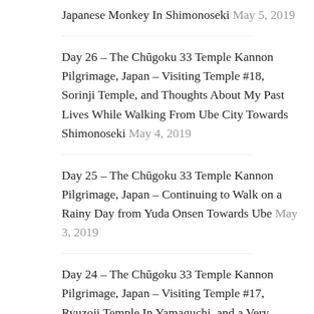Japanese Monkey In Shimonoseki May 5, 2019
Day 26 – The Chūgoku 33 Temple Kannon Pilgrimage, Japan – Visiting Temple #18, Sorinji Temple, and Thoughts About My Past Lives While Walking From Ube City Towards Shimonoseki May 4, 2019
Day 25 – The Chūgoku 33 Temple Kannon Pilgrimage, Japan – Continuing to Walk on a Rainy Day from Yuda Onsen Towards Ube May 3, 2019
Day 24 – The Chūgoku 33 Temple Kannon Pilgrimage, Japan – Visiting Temple #17, Ryuzoji Temple In Yamaguchi, and a Very Rainy Day of Walking from Yuda Onsen Towards Ube May 2, 2019
Day 23 – The Chūgoku 33 Temple Kannon Pilgrimage, Japan – A Long Day of Walking from Tokuji to Yuda Onsen, and Visiting Temple #16, Toshunji, In Yamaguchi